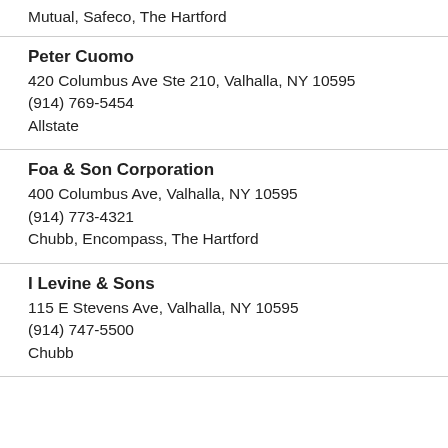Mutual, Safeco, The Hartford
Peter Cuomo
420 Columbus Ave Ste 210, Valhalla, NY 10595
(914) 769-5454
Allstate
Foa & Son Corporation
400 Columbus Ave, Valhalla, NY 10595
(914) 773-4321
Chubb, Encompass, The Hartford
I Levine & Sons
115 E Stevens Ave, Valhalla, NY 10595
(914) 747-5500
Chubb